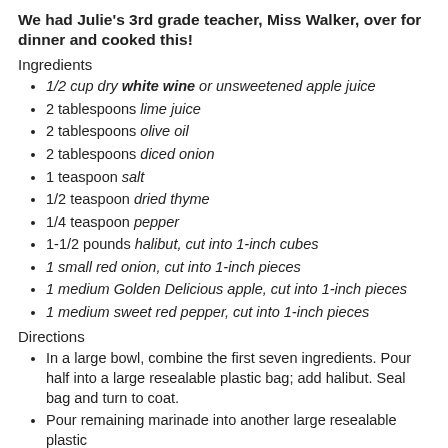We had Julie's 3rd grade teacher, Miss Walker, over for dinner and cooked this!
Ingredients
1/2 cup dry white wine or unsweetened apple juice
2 tablespoons lime juice
2 tablespoons olive oil
2 tablespoons diced onion
1 teaspoon salt
1/2 teaspoon dried thyme
1/4 teaspoon pepper
1-1/2 pounds halibut, cut into 1-inch cubes
1 small red onion, cut into 1-inch pieces
1 medium Golden Delicious apple, cut into 1-inch pieces
1 medium sweet red pepper, cut into 1-inch pieces
Directions
In a large bowl, combine the first seven ingredients. Pour half into a large resealable plastic bag; add halibut. Seal bag and turn to coat.
Pour remaining marinade into another large resealable plastic